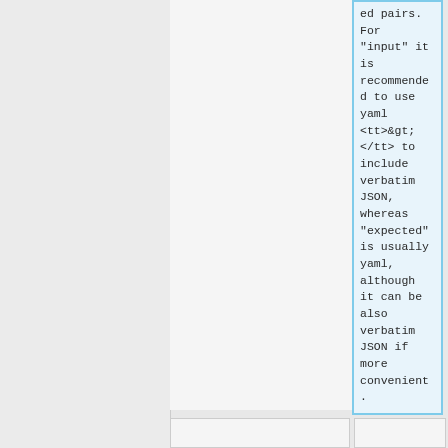ed pairs. For "input" it is recommended to use yaml <tt>&gt;</tt> to include verbatim JSON, whereas "expected" is usually yaml, although it can be also verbatim JSON if more convenient.